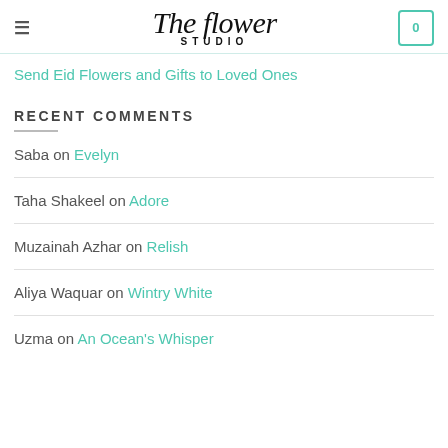The Flower Studio — navigation header with hamburger menu and cart
Send Eid Flowers and Gifts to Loved Ones
RECENT COMMENTS
Saba on Evelyn
Taha Shakeel on Adore
Muzainah Azhar on Relish
Aliya Waquar on Wintry White
Uzma on An Ocean's Whisper